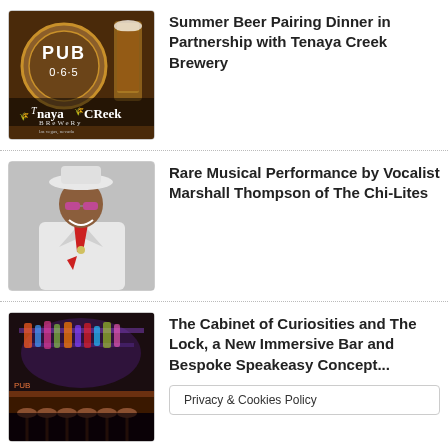[Figure (photo): Photo of Pub 065 sign with Tenaya Creek Brewery logo and a beer glass]
Summer Beer Pairing Dinner in Partnership with Tenaya Creek Brewery
[Figure (photo): Photo of vocalist Marshall Thompson of The Chi-Lites, man in white suit and hat with red accessories]
Rare Musical Performance by Vocalist Marshall Thompson of The Chi-Lites
[Figure (photo): Interior photo of The Cabinet of Curiosities and The Lock bar, showing bar stools and colorful lighting]
The Cabinet of Curiosities and The Lock, a New Immersive Bar and Bespoke Speakeasy Concept...
Privacy & Cookies Policy